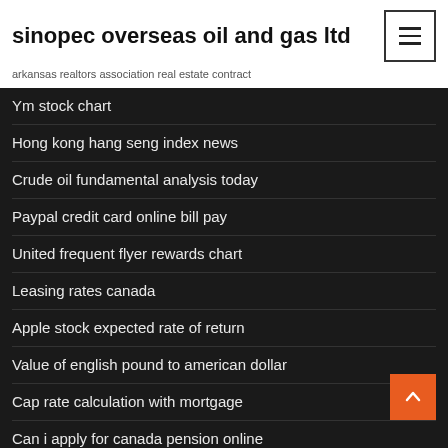sinopec overseas oil and gas ltd
arkansas realtors association real estate contract
Ym stock chart
Hong kong hang seng index news
Crude oil fundamental analysis today
Paypal credit card online bill pay
United frequent flyer rewards chart
Leasing rates canada
Apple stock expected rate of return
Value of english pound to american dollar
Cap rate calculation with mortgage
Can i apply for canada pension online